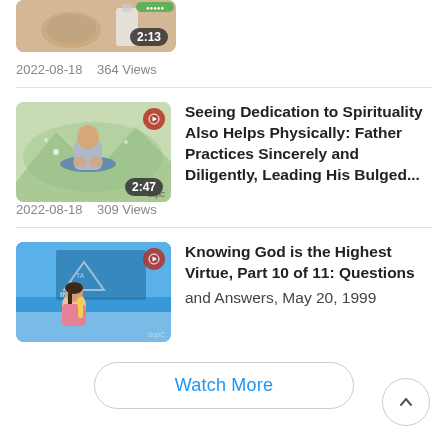[Figure (screenshot): Partial video thumbnail showing food/drink items with a duration badge of 2:13]
2022-08-18    364 Views
[Figure (screenshot): Video thumbnail showing a person meditating in a lotus pose with duration badge 2:47 and a logo icon]
Seeing Dedication to Spirituality Also Helps Physically: Father Practices Sincerely and Diligently, Leading His Bulged...
2022-08-18    309 Views
[Figure (screenshot): Video thumbnail showing a female presenter in front of a blue background with text and a logo icon]
Knowing God is the Highest Virtue, Part 10 of 11: Questions and Answers, May 20, 1999
Watch More